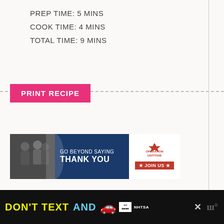PREP TIME: 5 MINS
COOK TIME: 4 MINS
TOTAL TIME: 9 MINS
PRINT RECIPE
[Figure (infographic): Operation Gratitude advertisement banner: 'GO BEYOND SAYING THANK YOU' with Operation Gratitude logo and JOIN US button]
[Figure (infographic): NHTSA advertisement banner: 'DON'T TEXT AND' with car emoji, ad badge, NHTSA logo, and close button]